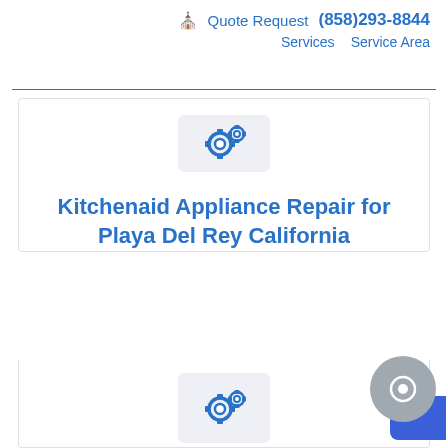🏠 Quote Request (858)293-8844 Services Service Area
[Figure (illustration): Gear icon box - two overlapping gear cogs in blue on a light gray background square]
Kitchenaid Appliance Repair for Playa Del Rey California
[Figure (illustration): Gear icon box - two overlapping gear cogs in blue on a light gray background square (partially visible at bottom)]
[Figure (illustration): Chat widget: gray circle with Q icon and blue tab in bottom right corner]